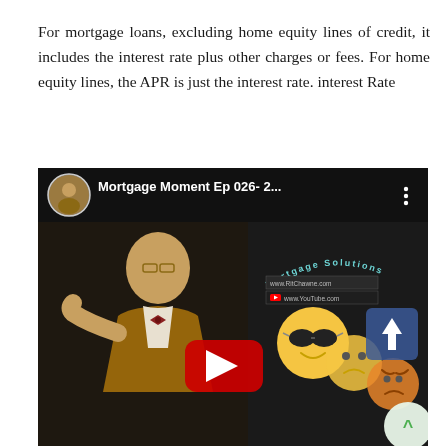For mortgage loans, excluding home equity lines of credit, it includes the interest rate plus other charges or fees. For home equity lines, the APR is just the interest rate. interest Rate
[Figure (screenshot): YouTube video thumbnail showing a man in a suit and bow tie gesturing, with a 'Mortgage Solutions' banner, emoji reactions, and a YouTube play button. Video title reads 'Mortgage Moment Ep 026- 2...']